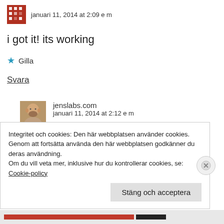januari 11, 2014 at 2:09 e m
i got it! its working
★ Gilla
Svara
jenslabs.com
janiari 11, 2014 at 2:12 e m
Integritet och cookies: Den här webbplatsen använder cookies. Genom att fortsätta använda den här webbplatsen godkänner du deras användning.
Om du vill veta mer, inklusive hur du kontrollerar cookies, se: Cookie-policy